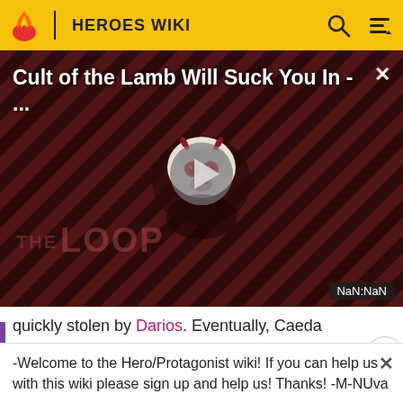HEROES WIKI
[Figure (screenshot): Video thumbnail for 'Cult of the Lamb Will Suck You In - ...' with a play button, THE LOOP watermark, and NaN:NaN timestamp. Dark red diagonal striped background with a cartoon lamb character.]
quickly stolen by Darios. Eventually, Caeda helped defeat the Chaos Dragon Velezark, which caused the portals t...
-Welcome to the Hero/Protagonist wiki! If you can help us with this wiki please sign up and help us! Thanks! -M-NUva